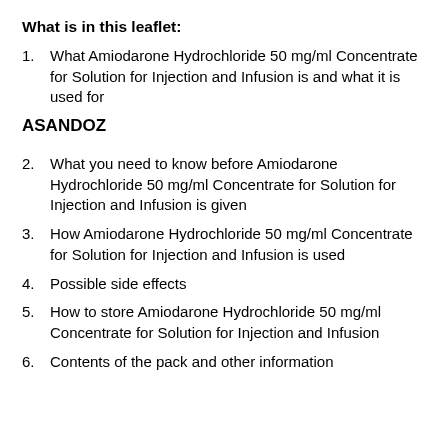What is in this leaflet:
1.    What Amiodarone Hydrochloride 50 mg/ml Concentrate for Solution for Injection and Infusion is and what it is used for
ASANDOZ
2.    What you need to know before Amiodarone Hydrochloride 50 mg/ml Concentrate for Solution for Injection and Infusion is given
3.    How Amiodarone Hydrochloride 50 mg/ml Concentrate for Solution for Injection and Infusion is used
4.    Possible side effects
5.    How to store Amiodarone Hydrochloride 50 mg/ml Concentrate for Solution for Injection and Infusion
6.    Contents of the pack and other information